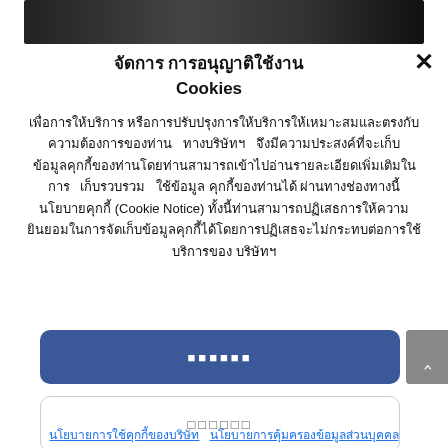[Figure (photo): Dark photo bar at top of modal dialog]
จัดการ การอนุญาติใช้งาน Cookies
เพื่อการให้บริการ หรือการปรับปรุงการให้บริการให้เหมาะสมและตรงกับความต้องการของท่าน ทางบริษัทฯ จึงมีความประสงค์ที่จะเก็บข้อมูลคุกกี้ของท่านโดยท่านสามารถเข้าไปอ่านรายละเอียดเพิ่มเติมในการ เก็บรวบรวม ใช้ข้อมูล คุกกี้ของท่านได้ ผ่านทางช่องทางนี้ นโยบายคุกกี้ (Cookie Notice) ทั้งนี้ท่านสามารถปฏิเสธการให้ความยินยอมในการจัดเก็บข้อมูลคุกกี้ได้โดยการปฏิเสธจะไม่กระทบต่อการใช้บริการของ บริษัทฯ
ยอมรับ (accept button)
ตั้งค่า (settings button)
ปฏิเสธทั้งหมด (reject all button)
นโยบายการใช้คุกกี้ของบริษัท  นโยบายการคุ้มครองข้อมูลส่วนบุคคล